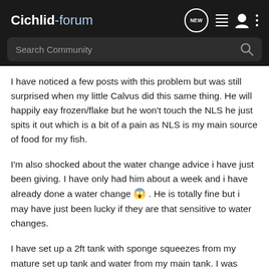Cichlid-forum
I have noticed a few posts with this problem but was still surprised when my little Calvus did this same thing. He will happily eay frozen/flake but he won't touch the NLS he just spits it out which is a bit of a pain as NLS is my main source of food for my fish.
I'm also shocked about the water change advice i have just been giving. I have only had him about a week and i have already done a water change 😱 . He is totally fine but i may have just been lucky if they are that sensitive to water changes.
I have set up a 2ft tank with sponge squeezes from my mature set up tank and water from my main tank. I was going to use it for the new Calvus i get just until i have managed to get them eat NLS then i was going to put them in my main tank. I was...